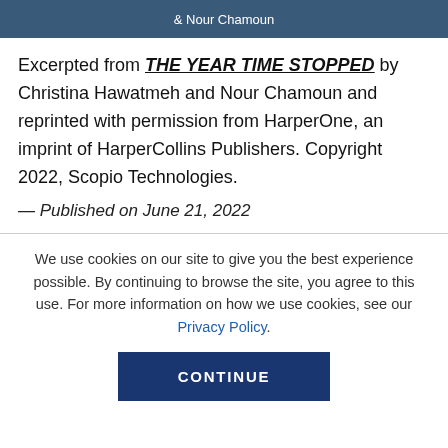[Figure (photo): Top portion of a book cover or image with text '& Nour Chamoun' visible on a dark blue background]
Excerpted from THE YEAR TIME STOPPED by Christina Hawatmeh and Nour Chamoun and reprinted with permission from HarperOne, an imprint of HarperCollins Publishers. Copyright 2022, Scopio Technologies.
— Published on June 21, 2022
We use cookies on our site to give you the best experience possible. By continuing to browse the site, you agree to this use. For more information on how we use cookies, see our Privacy Policy.
CONTINUE